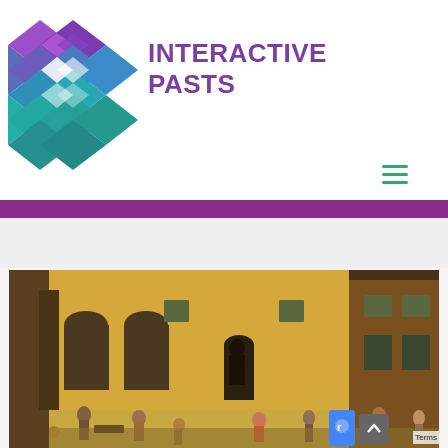[Figure (logo): Interactive Pasts logo — geometric hexagonal diamond shapes in purple to teal gradient with text INTERACTIVE PASTS]
[Figure (photo): Detail from Pieter Bruegel the Elder's Children's Games painting showing medieval town square with figures engaged in various activities]